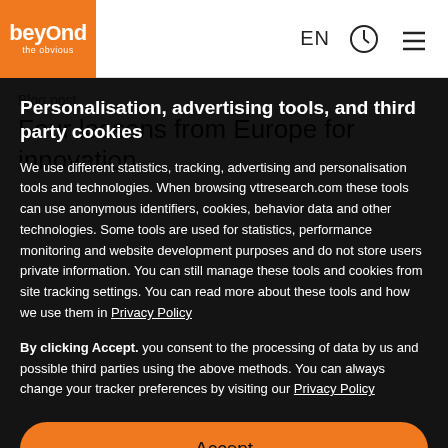[Figure (logo): Beyond the obvious logo - orange background with white text]
EN
Personalisation, advertising tools, and third party cookies
We use different statistics, tracking, advertising and personalisation tools and technologies. When browsing vttresearch.com these tools can use anonymous identifiers, cookies, behavior data and other technologies. Some tools are used for statistics, performance monitoring and website development purposes and do not store users private information. You can still manage these tools and cookies from site tracking settings. You can read more about these tools and how we use them in Privacy Policy
By clicking Accept. you consent to the processing of data by us and possible third parties using the above methods. You can always change your tracker preferences by visiting our Privacy Policy
Accept
Manage settings
Blog post
Four lessons from Europe for innovation